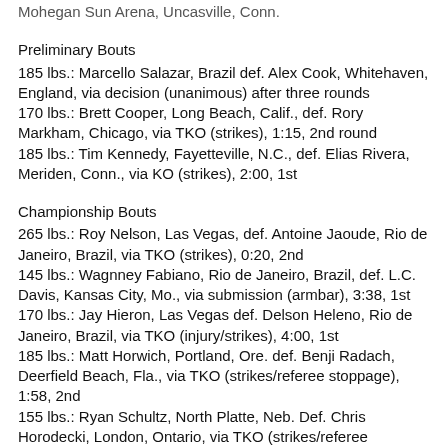Mohegan Sun Arena, Uncasville, Conn.
Preliminary Bouts
185 lbs.: Marcello Salazar, Brazil def. Alex Cook, Whitehaven, England, via decision (unanimous) after three rounds
170 lbs.: Brett Cooper, Long Beach, Calif., def. Rory Markham, Chicago, via TKO (strikes), 1:15, 2nd round
185 lbs.: Tim Kennedy, Fayetteville, N.C., def. Elias Rivera, Meriden, Conn., via KO (strikes), 2:00, 1st
Championship Bouts
265 lbs.: Roy Nelson, Las Vegas, def. Antoine Jaoude, Rio de Janeiro, Brazil, via TKO (strikes), 0:20, 2nd
145 lbs.: Wagnney Fabiano, Rio de Janeiro, Brazil, def. L.C. Davis, Kansas City, Mo., via submission (armbar), 3:38, 1st
170 lbs.: Jay Hieron, Las Vegas def. Delson Heleno, Rio de Janeiro, Brazil, via TKO (injury/strikes), 4:00, 1st
185 lbs.: Matt Horwich, Portland, Ore. def. Benji Radach, Deerfield Beach, Fla., via TKO (strikes/referee stoppage), 1:58, 2nd
155 lbs.: Ryan Schultz, North Platte, Neb. Def. Chris Horodecki, London, Ontario, via TKO (strikes/referee stoppage)...